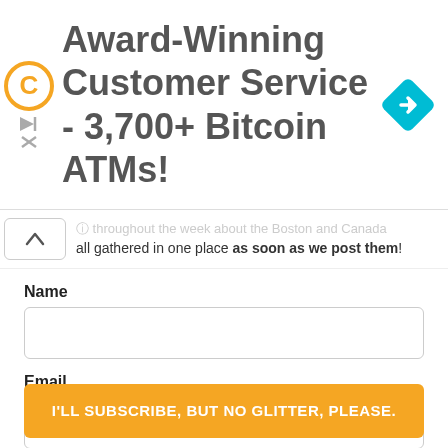[Figure (illustration): Advertisement banner with Coinstar logo, navigation diamond icon, and text: Award-Winning Customer Service - 3,700+ Bitcoin ATMs!]
...throughout the week about the Boston and Canada all gathered in one place as soon as we post them!
Name
Email
[Figure (other): reCAPTCHA widget with checkbox labeled 'I'm not a robot' and reCAPTCHA logo with Privacy and Terms links]
I'LL SUBSCRIBE, BUT NO GLITTER, PLEASE.